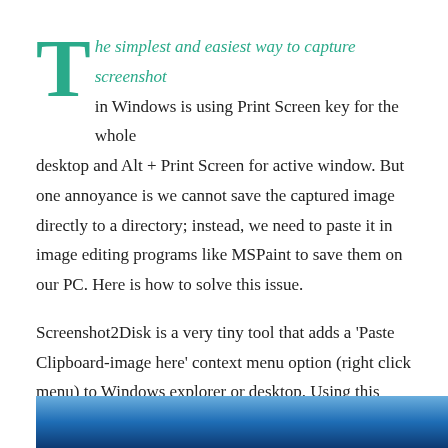The simplest and easiest way to capture screenshot in Windows is using Print Screen key for the whole desktop and Alt + Print Screen for active window. But one annoyance is we cannot save the captured image directly to a directory; instead, we need to paste it in image editing programs like MSPaint to save them on our PC. Here is how to solve this issue.
Screenshot2Disk is a very tiny tool that adds a 'Paste Clipboard-image here' context menu option (right click menu) to Windows explorer or desktop. Using this option, you paste and save images from clipboard to Windows Explorer folders directly.
[Figure (photo): Blue gradient image at bottom of page, partially visible]